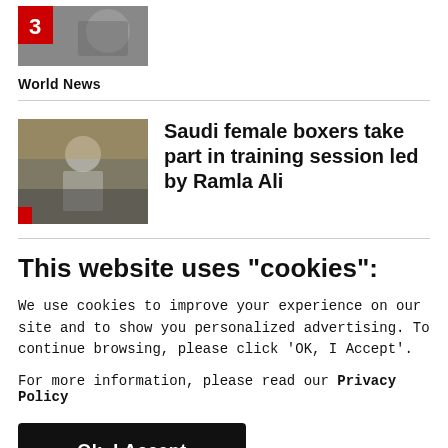[Figure (photo): Thumbnail image with red badge showing number 3, partially visible person with camera equipment]
World News
[Figure (photo): Photo of Saudi female boxers in a training session with a coach]
Saudi female boxers take part in training session led by Ramla Ali
This website uses "cookies":
We use cookies to improve your experience on our site and to show you personalized advertising. To continue browsing, please click 'OK, I Accept'.
For more information, please read our Privacy Policy
Ok, I Accept